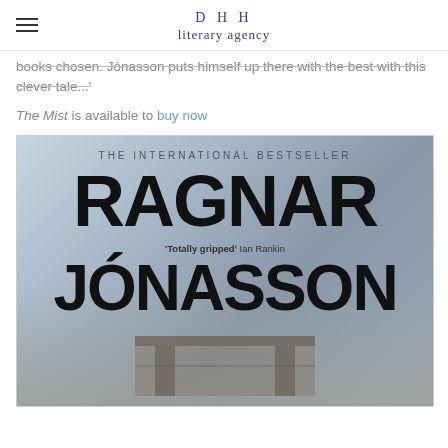DHH literary agency
books chosen. Jónasson puts himself up there with the best with this clever tale...'
The Mist is available to buy now
[Figure (photo): Book cover for Ragnar Jónasson - The International Bestseller. Shows large bold text 'RAGNAR' and 'JÓNASSON' on a misty grey background with smaller text reading 'Totally gripped' Ian Rankin.]